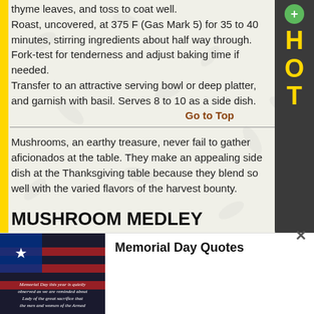thyme leaves, and toss to coat well.
Roast, uncovered, at 375 F (Gas Mark 5) for 35 to 40 minutes, stirring ingredients about half way through. Fork-test for tenderness and adjust baking time if needed.
Transfer to an attractive serving bowl or deep platter, and garnish with basil. Serves 8 to 10 as a side dish.
Go to Top
Mushrooms, an earthy treasure, never fail to gather aficionados at the table. They make an appealing side dish at the Thanksgiving table because they blend so well with the varied flavors of the harvest bounty.
MUSHROOM MEDLEY
Ingredients:
12 fresh or dried shiitake mushrooms
1/2 pound (225 g) oyster mushrooms, coarsely chopped
1 pound (450 g) cremini mushrooms, sliced
[Figure (photo): Memorial Day Quotes promotional image with American flag and script text]
Memorial Day Quotes